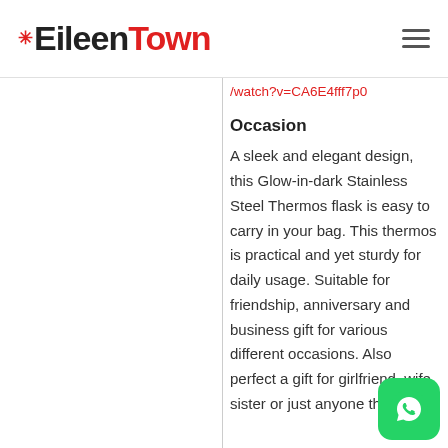EileenTown
/watch?v=CA6E4fff7p0
Occasion
A sleek and elegant design, this Glow-in-dark Stainless Steel Thermos flask is easy to carry in your bag. This thermos is practical and yet sturdy for daily usage. Suitable for friendship, anniversary and business gift for various different occasions. Also perfect a gift for girlfriend, wife sister or just anyone that